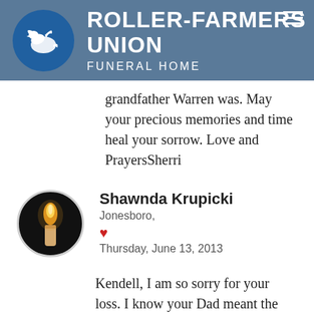[Figure (logo): Roller-Farmers Union Funeral Home logo with white dove on blue circle and text on steel blue header background]
grandfather Warren was. May your precious memories and time heal your sorrow. Love and PrayersSherri
Shawnda Krupicki
Jonesboro,
♥
Thursday, June 13, 2013
Kendell, I am so sorry for your loss. I know your Dad meant the world to you. I am praying for peace for you and your family that